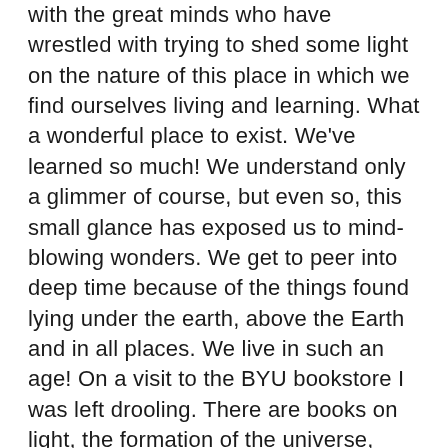with the great minds who have wrestled with trying to shed some light on the nature of this place in which we find ourselves living and learning. What a wonderful place to exist. We've learned so much! We understand only a glimmer of course, but even so, this small glance has exposed us to mind-blowing wonders. We get to peer into deep time because of the things found lying under the earth, above the Earth and in all places. We live in such an age! On a visit to the BYU bookstore I was left drooling. There are books on light, the formation of the universe, books explaining the wonders we see from such instruments such as the Hubble Telescope, the history of life on Earth as written in the fossil and genetic record! Books on how ecologies are structured, how the embryonic development of an organism proceeds from fertilization to birth. Amazing. I get giddy just thinking about it.